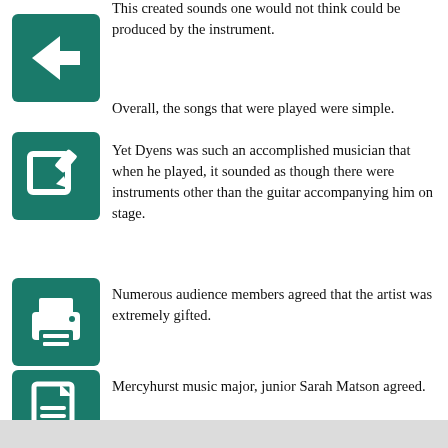This created sounds one would not think could be produced by the instrument.
[Figure (illustration): Green square button with white back arrow icon]
Overall, the songs that were played were simple.
[Figure (illustration): Green square button with white edit/pencil icon]
Yet Dyens was such an accomplished musician that when he played, it sounded as though there were instruments other than the guitar accompanying him on stage.
[Figure (illustration): Green square button with white printer icon]
Numerous audience members agreed that the artist was extremely gifted.
[Figure (illustration): Green square button with white PDF document icon]
Mercyhurst music major, junior Sarah Matson agreed.
"The way in which he transitioned from soft sounds to heavy chords was very incredible," she said.
Freshman Andria Andjelic, also a music major at Mercyhurst, perhaps sums up Roland Dyens the best.
He said that Dyens simply had “a beautiful, magical style to his work.”